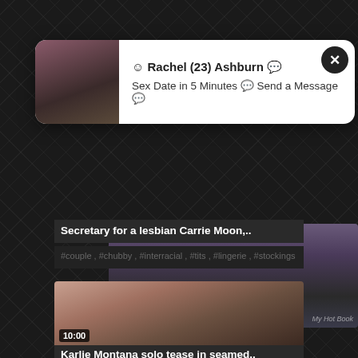[Figure (screenshot): Popup ad showing a woman with text 'Rachel (23) Ashburn - Sex Date in 5 Minutes - Send a Message']
[Figure (screenshot): Video thumbnail for 'Secretary for a lesbian Carrie Moon..' with duration 32:53]
Secretary for a lesbian Carrie Moon,..
#couple , #chubby , #interracial , #tits , #lingerie , #stockings
[Figure (screenshot): Video thumbnail for 'Karlie Montana solo tease in seamed..' with duration 10:00]
Karlie Montana solo tease in seamed..